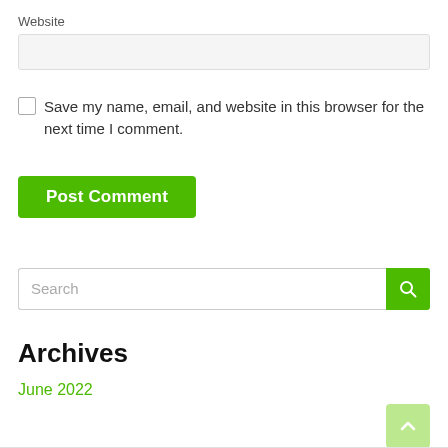Website
Save my name, email, and website in this browser for the next time I comment.
Post Comment
Search
Archives
June 2022